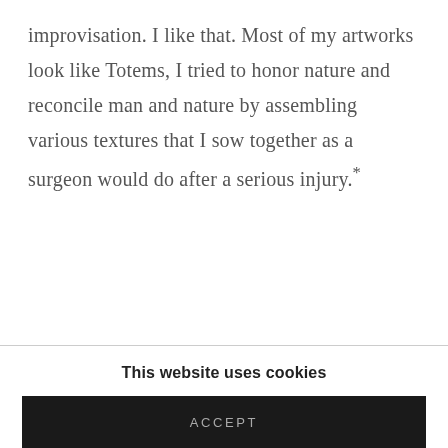improvisation. I like that. Most of my artworks look like Totems, I tried to honor nature and reconcile man and nature by assembling various textures that I sow together as a surgeon would do after a serious injury.*
This website uses cookies
This site uses cookies to help make it more useful to you. Please contact us to find out more about our Cookie Policy.
MANAGE COOKIES
ACCEPT